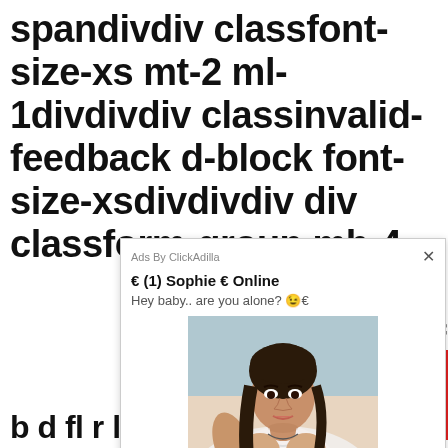spandivdiv classfont-size-xs mt-2 ml-1divdivdiv classinvalid-feedback d-block font-size-xsdivdivdiv div classform-group mb-4
[Figure (screenshot): Ad popup from ClickAdilla showing a message from 'Sophie' that says 'Hey baby.. are you alone?' with a photo of a woman]
ordf
b d fl r li it